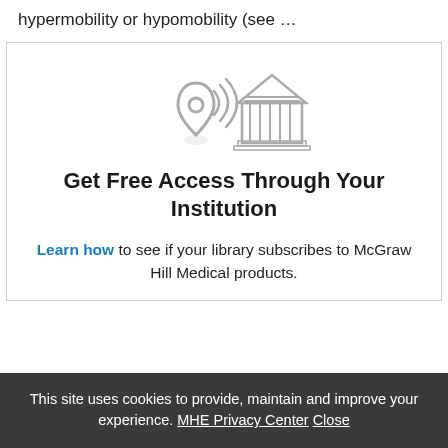hypermobility or hypomobility (see …
[Figure (illustration): Icon of a location pin with WiFi signal arcs and a classical building (institution) in the background, in grey outline style]
Get Free Access Through Your Institution
Learn how to see if your library subscribes to McGraw Hill Medical products.
This site uses cookies to provide, maintain and improve your experience. MHE Privacy Center Close